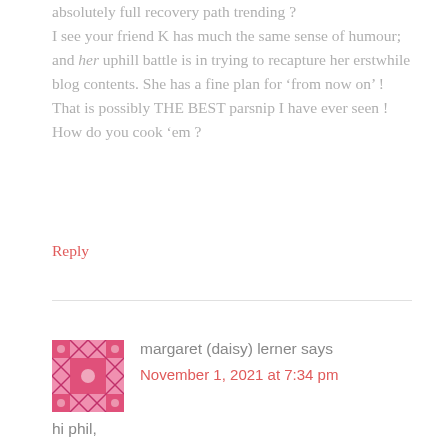absolutely full recovery path trending ?
I see your friend K has much the same sense of humour; and her uphill battle is in trying to recapture her erstwhile blog contents. She has a fine plan for ‘from now on’ !
That is possibly THE BEST parsnip I have ever seen ! How do you cook ‘em ?
Reply
[Figure (illustration): Pink geometric/floral avatar icon for commenter margaret (daisy) lerner]
margaret (daisy) lerner says
November 1, 2021 at 7:34 pm
hi phil,